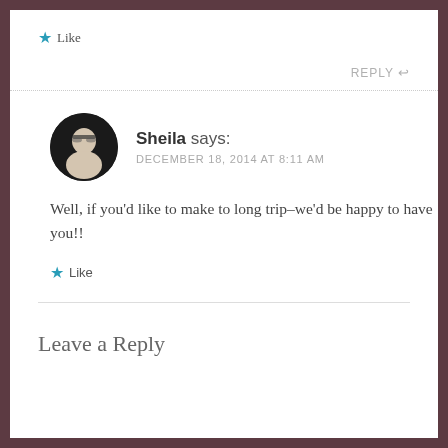★ Like
REPLY ↩
Sheila says: DECEMBER 18, 2014 AT 8:11 AM
Well, if you'd like to make to long trip–we'd be happy to have you!!
★ Like
Leave a Reply